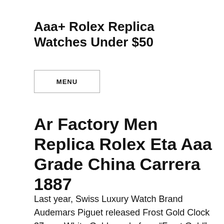Aaa+ Rolex Replica Watches Under $50
MENU
Ar Factory Men Replica Rolex Eta Aaa Grade China Carrera 1887
Last year, Swiss Luxury Watch Brand Audemars Piguet released Frost Gold Clock 37 mm White Gold, made from “Frost Gold” and O. Please